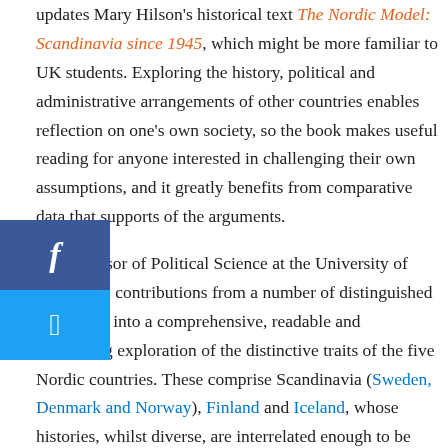updates Mary Hilson's historical text The Nordic Model: Scandinavia since 1945, which might be more familiar to UK students. Exploring the history, political and administrative arrangements of other countries enables reflection on one's own society, so the book makes useful reading for anyone interested in challenging their own assumptions, and it greatly benefits from comparative data that supports of the arguments.
en, Professor of Political Science at the University of Oslo, edits contributions from a number of distinguished academics into a comprehensive, readable and fascinating exploration of the distinctive traits of the five Nordic countries. These comprise Scandinavia (Sweden, Denmark and Norway), Finland and Iceland, whose histories, whilst diverse, are interrelated enough to be considered a discrete bloc. The volume's objective is to examine the variation within the 'Nordic model' and to consider the degree to which Nordic countries have been influenced by the forces that have generated a degree of convergence in other Western states (13).